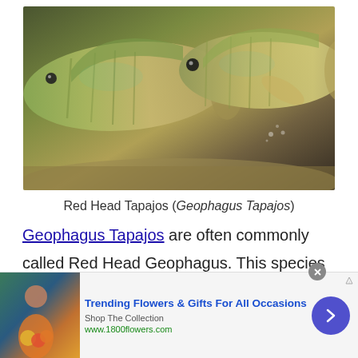[Figure (photo): Close-up photo of two Red Head Tapajos cichlid fish with iridescent gold-green scales against a sandy aquarium background]
Red Head Tapajos (Geophagus Tapajos)
Geophagus Tapajos are often commonly called Red Head Geophagus. This species of Cichlid is easily identified by its beautiful markings. They have reddish, sometimes orangish, heads, and they have gold to green iridescent scales as well as translucent
[Figure (advertisement): Advertisement banner: Trending Flowers & Gifts For All Occasions, Shop The Collection, www.1800flowers.com. Shows a woman holding flowers. Has a blue circular arrow button on the right.]